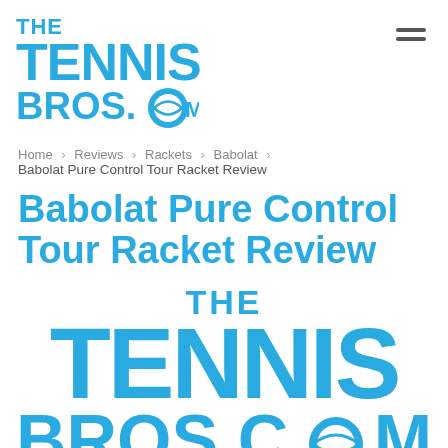THE TENNIS BROS.COM
Home > Reviews > Rackets > Babolat > Babolat Pure Control Tour Racket Review
Babolat Pure Control Tour Racket Review
[Figure (logo): The Tennis Bros.com logo repeated large at bottom of page]